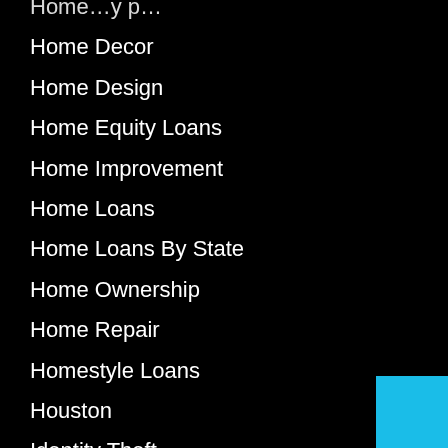Home Decor
Home Design
Home Equity Loans
Home Improvement
Home Loans
Home Loans By State
Home Ownership
Home Repair
Homestyle Loans
Houston
Identity Theft
Insurance
Interest Only Loans
Investing
Investment Property Mortgages